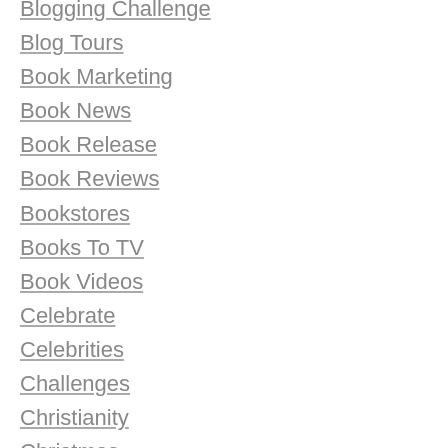Blogging Challenge
Blog Tours
Book Marketing
Book News
Book Release
Book Reviews
Bookstores
Books To TV
Book Videos
Celebrate
Celebrities
Challenges
Christianity
Christmas
Coffee
Contemporary Romance
Contest
Cover Reveal
Covers
Crafts